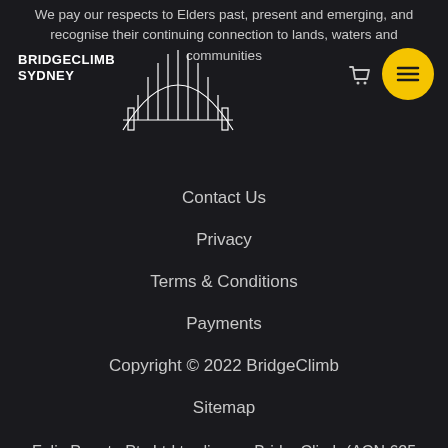We pay our respects to Elders past, present and emerging, and recognise their continuing connection to lands, waters and communities
[Figure (logo): BridgeClimb Sydney logo with white text and Sydney Harbour Bridge line drawing illustration]
Contact Us
Privacy
Terms & Conditions
Payments
Copyright © 2022 BridgeClimb
Sitemap
Feliz Puente Pty Ltd trading as BridgeClimb (ACN 625 999 877)